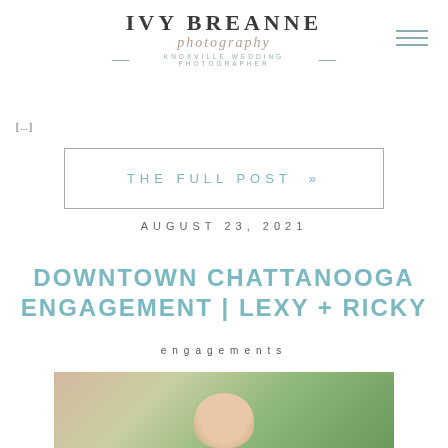IVY BREANNE photography — KNOXVILLE WEDDING PHOTOGRAPHER —
[…]
THE FULL POST »
AUGUST 23, 2021
DOWNTOWN CHATTANOOGA ENGAGEMENT | LEXY + RICKY
engagements
[Figure (photo): Outdoor engagement photo showing a couple surrounded by green foliage and pink flowers]